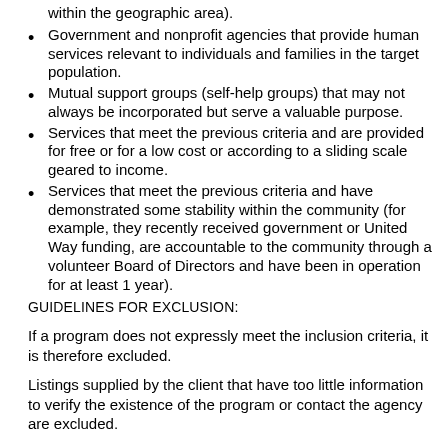within the geographic area).
Government and nonprofit agencies that provide human services relevant to individuals and families in the target population.
Mutual support groups (self-help groups) that may not always be incorporated but serve a valuable purpose.
Services that meet the previous criteria and are provided for free or for a low cost or according to a sliding scale geared to income.
Services that meet the previous criteria and have demonstrated some stability within the community (for example, they recently received government or United Way funding, are accountable to the community through a volunteer Board of Directors and have been in operation for at least 1 year).
GUIDELINES FOR EXCLUSION:
If a program does not expressly meet the inclusion criteria, it is therefore excluded.
Listings supplied by the client that have too little information to verify the existence of the program or contact the agency are excluded.